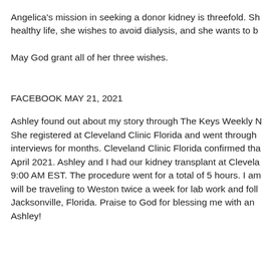Angelica's mission in seeking a donor kidney is threefold. She wishes to live a healthy life, she wishes to avoid dialysis, and she wants to be…
May God grant all of her three wishes.
FACEBOOK MAY 21, 2021
Ashley found out about my story through The Keys Weekly News. She registered at Cleveland Clinic Florida and went through interviews for months. Cleveland Clinic Florida confirmed that April 2021. Ashley and I had our kidney transplant at Cleveland at 9:00 AM EST. The procedure went for a total of 5 hours. I am will be traveling to Weston twice a week for lab work and follow Jacksonville, Florida. Praise to God for blessing me with an Ashley!